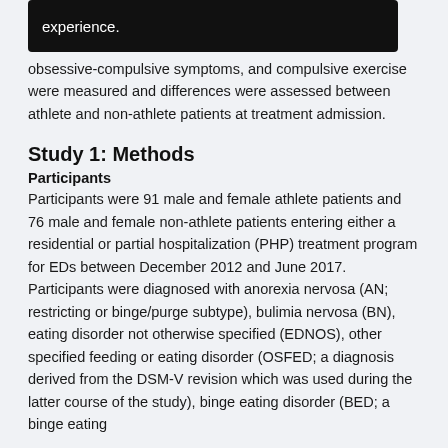[Figure (other): Black banner with partial text 'experience.' visible]
obsessive-compulsive symptoms, and compulsive exercise were measured and differences were assessed between athlete and non-athlete patients at treatment admission.
Study 1: Methods
Participants
Participants were 91 male and female athlete patients and 76 male and female non-athlete patients entering either a residential or partial hospitalization (PHP) treatment program for EDs between December 2012 and June 2017. Participants were diagnosed with anorexia nervosa (AN; restricting or binge/purge subtype), bulimia nervosa (BN), eating disorder not otherwise specified (EDNOS), other specified feeding or eating disorder (OSFED; a diagnosis derived from the DSM-V revision which was used during the latter course of the study), binge eating disorder (BED; a binge eating